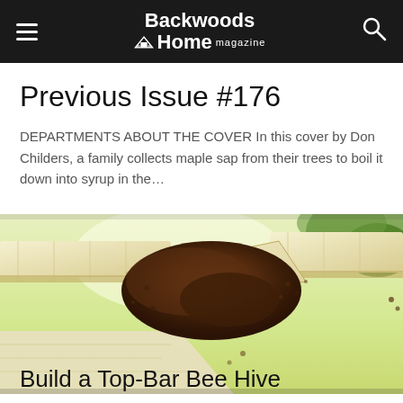Backwoods Home magazine
Previous Issue #176
DEPARTMENTS ABOUT THE COVER In this cover by Don Childers, a family collects maple sap from their trees to boil it down into syrup in the…
[Figure (photo): Close-up photograph of honeybees clustered on wooden top-bar hive frames, seen from above with natural light and green foliage in background.]
Build a Top-Bar Bee Hive